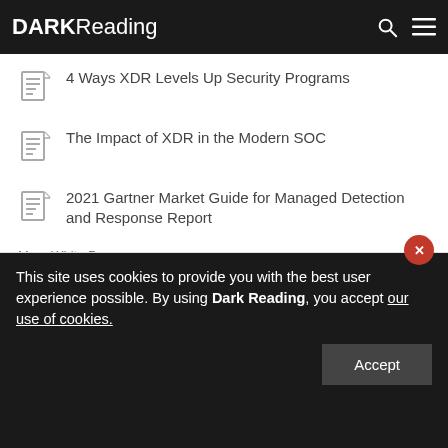DARK Reading
4 Ways XDR Levels Up Security Programs
The Impact of XDR in the Modern SOC
2021 Gartner Market Guide for Managed Detection and Response Report
More White Papers
This site uses cookies to provide you with the best user experience possible. By using Dark Reading, you accept our use of cookies.